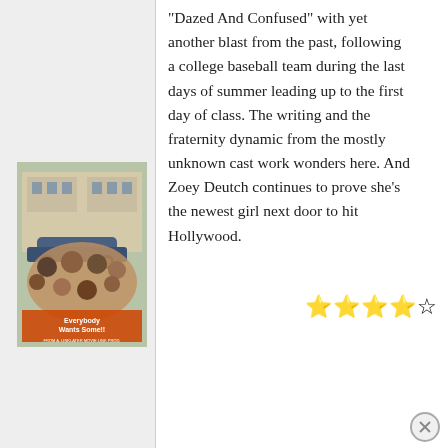“Dazed And Confused” with yet another blast from the past, following a college baseball team during the last days of summer leading up to the first day of class. The writing and the fraternity dynamic from the mostly unknown cast work wonders here. And Zoey Deutch continues to prove she’s the newest girl next door to hit Hollywood.
[Figure (photo): Movie poster for 'Everybody Wants Some!!' showing a group of young people posing together outdoors with a car in the background.]
★★★★☆ (4 out of 5 stars)
GOD’S NOT DEAD 2 | |
Faith-based films are